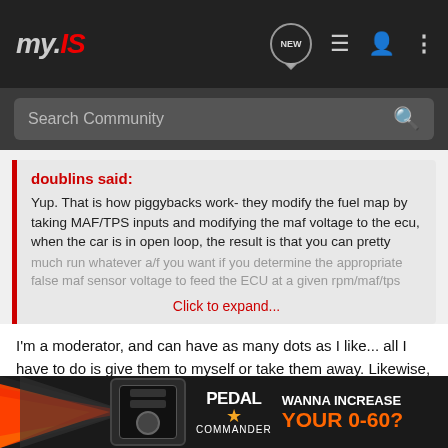my.IS
Search Community
doublins said:
Yup. That is how piggybacks work- they modify the fuel map by taking MAF/TPS inputs and modifying the maf voltage to the ecu, when the car is in open loop, the result is that you can pretty much run whatever a/f you want if you determine the appropriate false maf sensor voltage to feed the ECU at a given rpm/maf/tps
Click to expand...
I'm a moderator, and can have as many dots as I like... all I have to do is give them to myself or take them away. Likewise, I can take away anyone's dots. So can any other moderator. I had some dots, but someone *cough* thinks it's just hilarious to keep taking them away from me... Now, I know who it is, but I don't really care about exercising their perogative... ng on.
[Figure (infographic): Advertisement banner for Pedal Commander device - 'WANNA INCREASE YOUR 0-60?' with orange and black arrow graphic and device image]